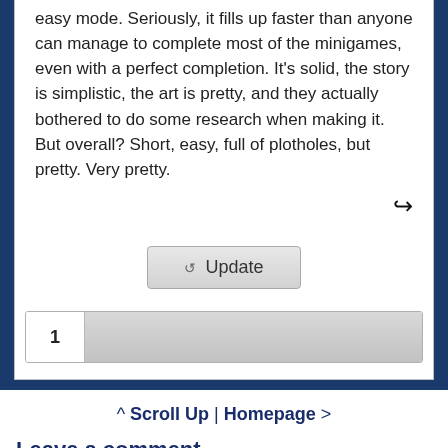easy mode. Seriously, it fills up faster than anyone can manage to complete most of the minigames, even with a perfect completion. It's solid, the story is simplistic, the art is pretty, and they actually bothered to do some research when making it. But overall? Short, easy, full of plotholes, but pretty. Very pretty.
Update (button)
1 (pagination)
^ Scroll Up | Homepage >
Leave a comment [top of page]
Sign in to comment